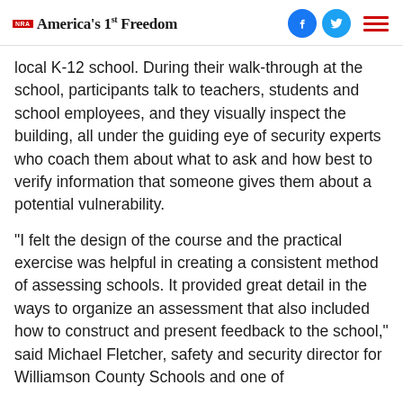NRA America's 1st Freedom
local K-12 school. During their walk-through at the school, participants talk to teachers, students and school employees, and they visually inspect the building, all under the guiding eye of security experts who coach them about what to ask and how best to verify information that someone gives them about a potential vulnerability.
“I felt the design of the course and the practical exercise was helpful in creating a consistent method of assessing schools. It provided great detail in the ways to organize an assessment that also included how to construct and present feedback to the school,” said Michael Fletcher, safety and security director for Williamson County Schools and one of